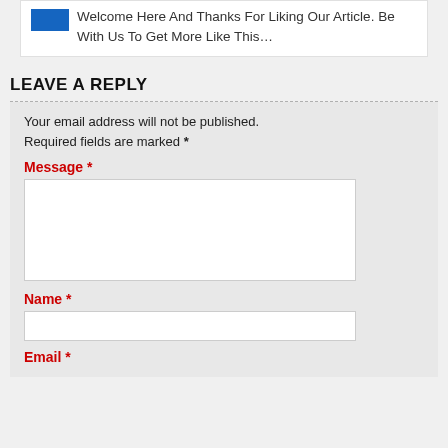Welcome Here And Thanks For Liking Our Article. Be With Us To Get More Like This…
LEAVE A REPLY
Your email address will not be published. Required fields are marked *
Message *
Name *
Email *